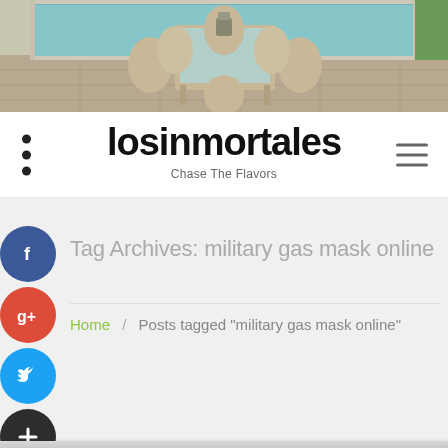[Figure (photo): Outdoor patio scene with wicker dining table and chairs next to a swimming pool on stone pavers]
losinmortales
Chase The Flavors
Tag Archives: military gas mask online
Home / Posts tagged "military gas mask online"